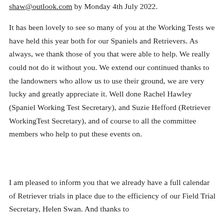shaw@outlook.com by Monday 4th July 2022.
It has been lovely to see so many of you at the Working Tests we have held this year both for our Spaniels and Retrievers. As always, we thank those of you that were able to help. We really could not do it without you. We extend our continued thanks to the landowners who allow us to use their ground, we are very lucky and greatly appreciate it. Well done Rachel Hawley (Spaniel Working Test Secretary), and Suzie Hefford (Retriever WorkingTest Secretary), and of course to all the committee members who help to put these events on.
I am pleased to inform you that we already have a full calendar of Retriever trials in place due to the efficiency of our Field Trial Secretary, Helen Swan. And thanks to